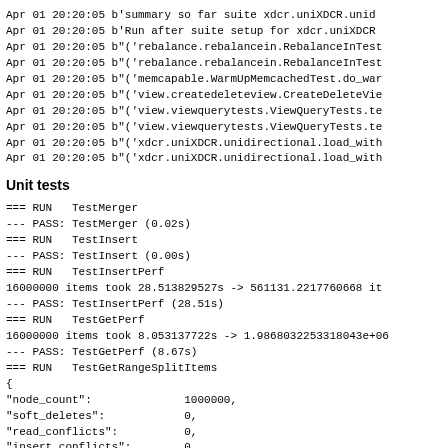Apr 01 20:20:05 b'summary so far suite xdcr.uniXDCR.unid
Apr 01 20:20:05 b'Run after suite setup for xdcr.uniXDCR
Apr 01 20:20:05 b"('rebalance.rebalancein.RebalanceInTest
Apr 01 20:20:05 b"('rebalance.rebalancein.RebalanceInTest
Apr 01 20:20:05 b"('memcapable.WarmUpMemcachedTest.do_war
Apr 01 20:20:05 b"('view.createdeleteview.CreateDeleteVie
Apr 01 20:20:05 b"('view.viewquerytests.ViewQueryTests.te
Apr 01 20:20:05 b"('view.viewquerytests.ViewQueryTests.te
Apr 01 20:20:05 b"('xdcr.uniXDCR.unidirectional.load_with
Apr 01 20:20:05 b"('xdcr.uniXDCR.unidirectional.load_with
Unit tests
=== RUN   TestMerger
--- PASS: TestMerger (0.02s)
=== RUN   TestInsert
--- PASS: TestInsert (0.00s)
=== RUN   TestInsertPerf
16000000 items took 28.513829527s -> 561131.2217760668 it
--- PASS: TestInsertPerf (28.51s)
=== RUN   TestGetPerf
16000000 items took 8.053137722s -> 1.9868032253180043e+06
--- PASS: TestGetPerf (8.67s)
=== RUN   TestGetRangeSplitItems
{
"node_count":              1000000,
"soft_deletes":            0,
"read_conflicts":          0,
"insert_conflicts":        0,